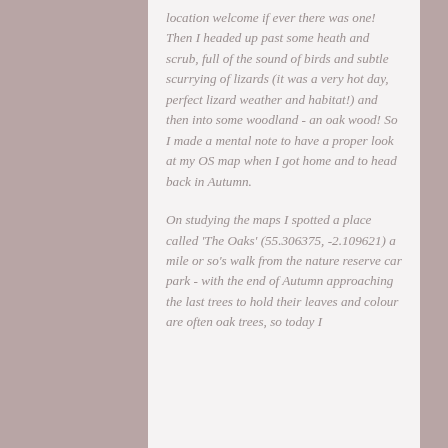location welcome if ever there was one! Then I headed up past some heath and scrub, full of the sound of birds and subtle scurrying of lizards (it was a very hot day, perfect lizard weather and habitat!) and then into some woodland - an oak wood! So I made a mental note to have a proper look at my OS map when I got home and to head back in Autumn.

On studying the maps I spotted a place called 'The Oaks' (55.306375, -2.109621) a mile or so's walk from the nature reserve car park - with the end of Autumn approaching the last trees to hold their leaves and colour are often oak trees, so today I